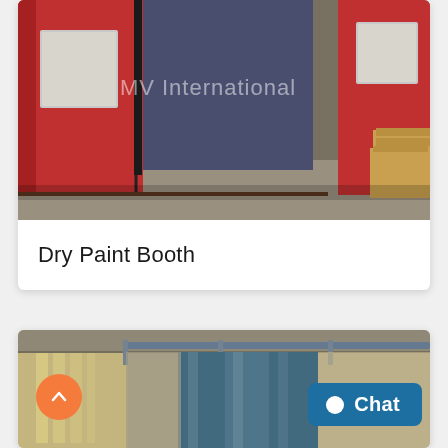[Figure (photo): Industrial dry paint booth with red sliding panels and white square windows, blue interior walls visible, wooden crates on the right side. Watermark text 'MV International' overlaid on image.]
Dry Paint Booth
[Figure (photo): Interior of an industrial facility showing blue curtain/sliding panel paint booth equipment, industrial ceiling structure visible in background.]